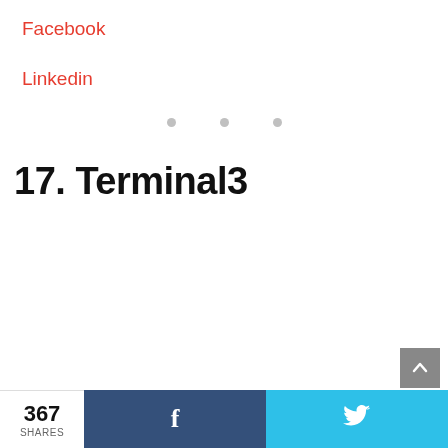Facebook
Linkedin
[Figure (other): Three grey dots in a row, indicating a pagination or loading indicator]
17. Terminal3
[Figure (other): Grey scroll-to-top button with upward arrow icon]
367 SHARES | Facebook share button | Twitter share button